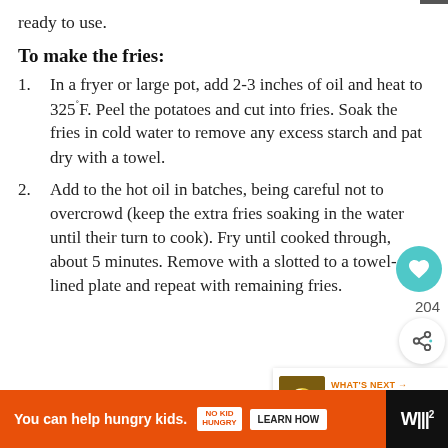ready to use.
To make the fries:
In a fryer or large pot, add 2-3 inches of oil and heat to 325°F. Peel the potatoes and cut into fries. Soak the fries in cold water to remove any excess starch and pat dry with a towel.
Add to the hot oil in batches, being careful not to overcrowd (keep the extra fries soaking in the water until their turn to cook). Fry until cooked through, about 5 minutes. Remove with a slotted to a towel-lined plate and repeat with remaining fries.
[Figure (screenshot): UI overlay with heart/favorite button showing teal circle with heart icon, count 204, share button, and 'What's Next' card showing Asparagus Fried Rice]
[Figure (infographic): Orange advertisement bar: 'You can help hungry kids.' with No Kid Hungry logo and LEARN HOW button, with X close button and black strip on right]